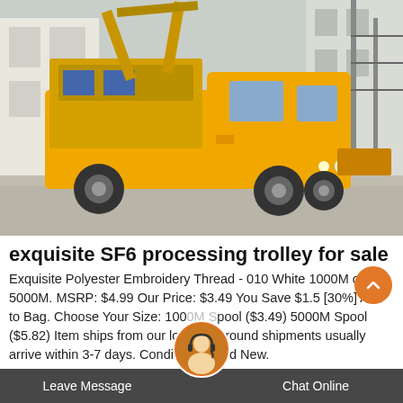[Figure (photo): Yellow SF6 processing trolley truck parked on a street in front of a white building and electrical infrastructure]
exquisite SF6 processing trolley for sale
Exquisite Polyester Embroidery Thread - 010 White 1000M or 5000M. MSRP: $4.99 Our Price: $3.49 You Save $1.5 [30%] Add to Bag. Choose Your Size: 1000M Spool ($3.49) 5000M Spool ($5.82) Item ships from our lo... Ground shipments usually arrive within 3-7 days. Condition: Brand New.